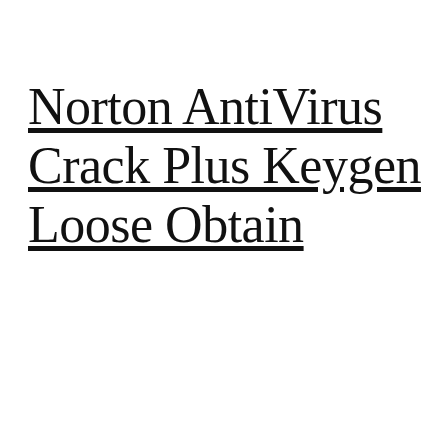Norton AntiVirus Crack Plus Keygen Loose Obtain
[Figure (screenshot): Norton Security application window showing 'You Are Protected' status. Title bar shows 'Norton Security' with 'Hello Preston Gralla' on right. Menu bar shows Settings and Help options. Main content shows green monitor icon with checkmark, text 'You Are Protected', Protection Updates: 10/2/2018, Last Scan: 1 minute ago. Bottom shows URL https://irfanpc.com/ with green scroll arrow.]